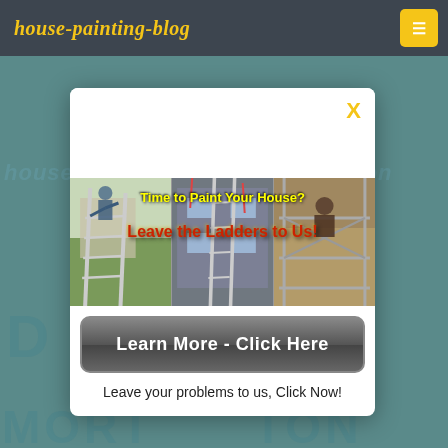house-painting-blog
[Figure (screenshot): Modal popup advertisement on a house-painting-blog website. Contains a collage of three photos showing people working on ladders painting houses, with overlay text 'Time to Paint Your House? Leave the Ladders to Us!', a 'Learn More - Click Here' button, and caption 'Leave your problems to us, Click Now!'. Background shows partially visible blog page text.]
Time to Paint Your House?
Leave the Ladders to Us!
Learn More - Click Here
Leave your problems to us, Click Now!